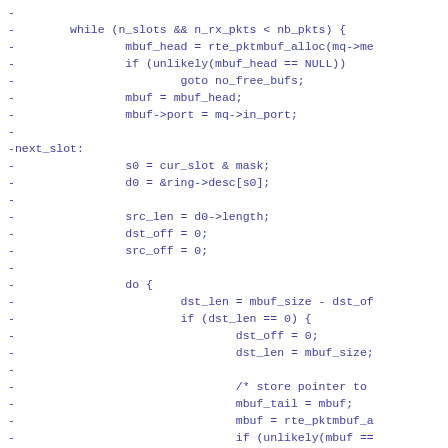Code diff showing removed lines of C code related to packet buffer allocation and memory ring operations in a network driver